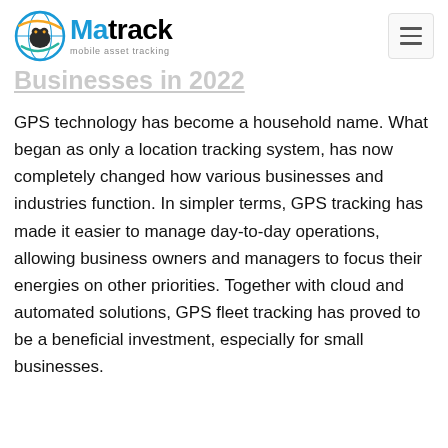Matrack — mobile asset tracking
Businesses in 2022
GPS technology has become a household name. What began as only a location tracking system, has now completely changed how various businesses and industries function. In simpler terms, GPS tracking has made it easier to manage day-to-day operations, allowing business owners and managers to focus their energies on other priorities. Together with cloud and automated solutions, GPS fleet tracking has proved to be a beneficial investment, especially for small businesses.